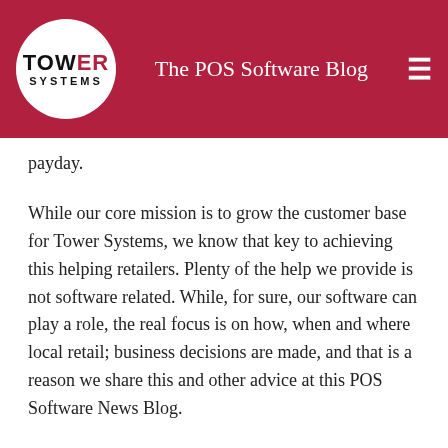Tower Systems — The POS Software Blog
payday.
While our core mission is to grow the customer base for Tower Systems, we know that key to achieving this helping retailers. Plenty of the help we provide is not software related. While, for sure, our software can play a role, the real focus is on how, when and where local retail; business decisions are made, and that is a reason we share this and other advice at this POS Software News Blog.
In sharing this advice we demonstrate a care for local small business retail and a transparency as to the advice and help we can provide.